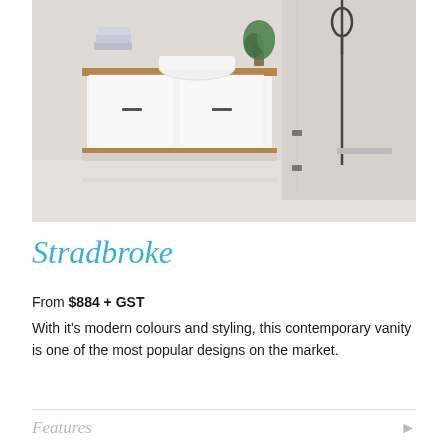[Figure (photo): Modern bathroom with a floating white vanity cabinet with wood trim, folded towels, white basin, plant, and a walk-in shower with a dark overhead shower head visible on the right side. Light grey walls and floor.]
Stradbroke
From $884 + GST
With it's modern colours and styling, this contemporary vanity is one of the most popular designs on the market.
Features